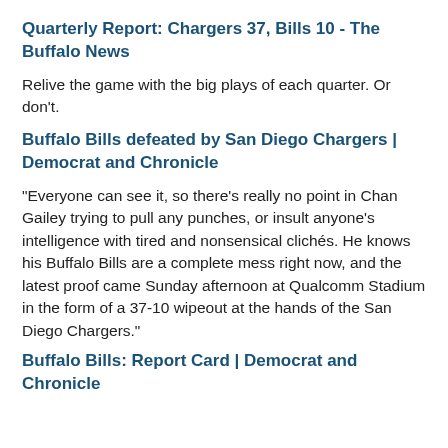Quarterly Report: Chargers 37, Bills 10 - The Buffalo News
Relive the game with the big plays of each quarter. Or don't.
Buffalo Bills defeated by San Diego Chargers | Democrat and Chronicle
"Everyone can see it, so there's really no point in Chan Gailey trying to pull any punches, or insult anyone's intelligence with tired and nonsensical clichés. He knows his Buffalo Bills are a complete mess right now, and the latest proof came Sunday afternoon at Qualcomm Stadium in the form of a 37-10 wipeout at the hands of the San Diego Chargers."
Buffalo Bills: Report Card | Democrat and Chronicle